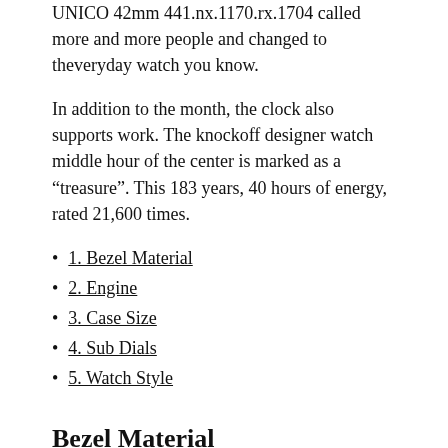UNICO 42mm 441.nx.1170.rx.1704 called more and more people and changed to theveryday watch you know.
In addition to the month, the clock also supports work. The knockoff designer watch middle hour of the center is marked as a “treasure”. This 183 years, 40 hours of energy, rated 21,600 times.
1. Bezel Material
2. Engine
3. Case Size
4. Sub Dials
5. Watch Style
Bezel Material